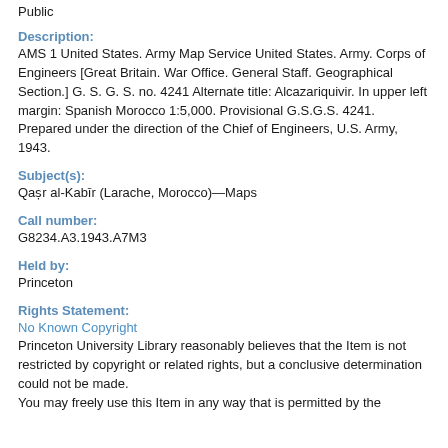Public
Description:
AMS 1 United States. Army Map Service United States. Army. Corps of Engineers [Great Britain. War Office. General Staff. Geographical Section.] G. S. G. S. no. 4241 Alternate title: Alcazariquivir. In upper left margin: Spanish Morocco 1:5,000. Provisional G.S.G.S. 4241. Prepared under the direction of the Chief of Engineers, U.S. Army, 1943.
Subject(s):
Qaṣr al-Kabīr (Larache, Morocco)—Maps
Call number:
G8234.A3.1943.A7M3
Held by:
Princeton
Rights Statement:
No Known Copyright
Princeton University Library reasonably believes that the Item is not restricted by copyright or related rights, but a conclusive determination could not be made.
You may freely use this Item in any way that is permitted by the